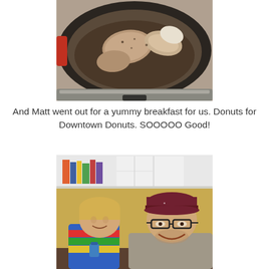[Figure (photo): A slow cooker (crock pot) viewed from above, containing raw meat pieces with seasoning in dark liquid]
And Matt went out for a yummy breakfast for us. Donuts for Downtown Donuts. SOOOOO Good!
[Figure (photo): A young boy with blonde hair and a man wearing glasses and a maroon baseball cap smiling together at a restaurant table, with bookshelves visible in the background]